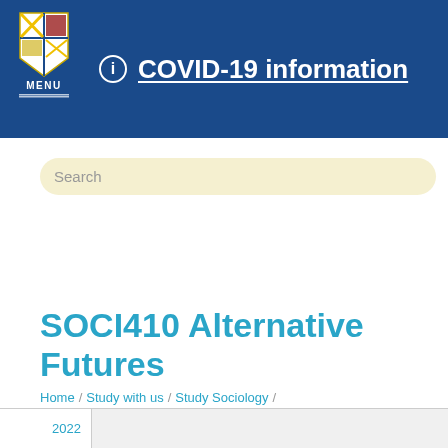COVID-19 information
SOCI410 Alternative Futures
Home / Study with us / Study Sociology /
| 2022 |  |
| --- | --- |